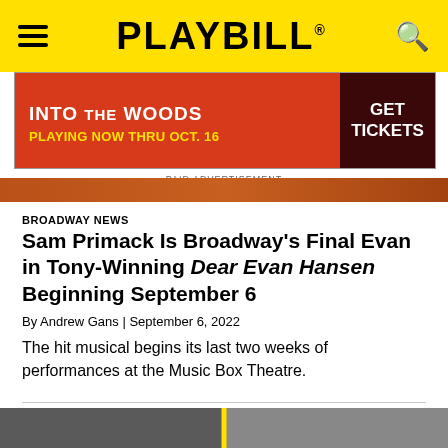PLAYBILL
[Figure (screenshot): Into the Woods advertisement banner: red background with white text 'INTO THE WOODS', yellow text 'PLAYING NOW THRU OCT. 16', dark button 'GET TICKETS']
PAID ADVERTISEMENT
BROADWAY NEWS
Sam Primack Is Broadway's Final Evan in Tony-Winning Dear Evan Hansen Beginning September 6
By Andrew Gans | September 6, 2022
The hit musical begins its last two weeks of performances at the Music Box Theatre.
[Figure (photo): Black and white split photo of two women, side by side with a yellow diagonal divider line between them]